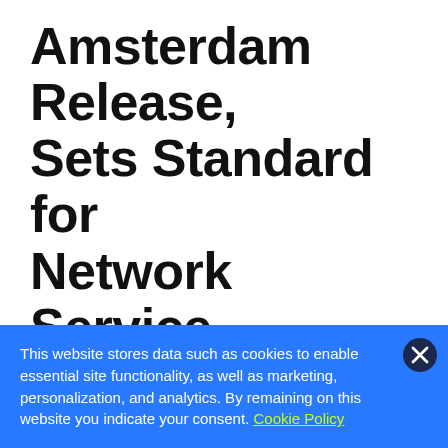Amsterdam Release, Sets Standard for Network Service Automation
NETWORKING AND EDGE, PRESS RELEASE
Via collaboration of global, sustainable community, ONAP Amsterdam release...
This website stores data such as cookies to enable essential site functionality, as well as marketing, personalization, and analytics. By remaining on this website you indicate your consent. Cookie Policy